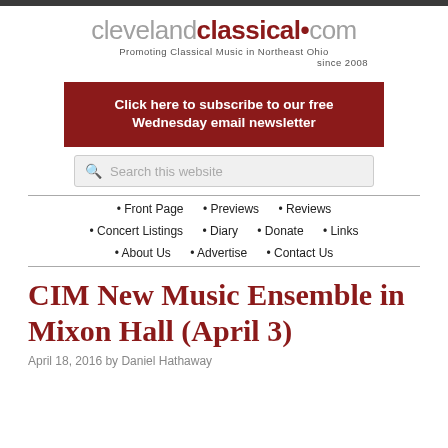clevelandclassical.com — Promoting Classical Music in Northeast Ohio since 2008
Click here to subscribe to our free Wednesday email newsletter
Search this website
• Front Page
• Previews
• Reviews
• Concert Listings
• Diary
• Donate
• Links
• About Us
• Advertise
• Contact Us
CIM New Music Ensemble in Mixon Hall (April 3)
April 18, 2016 by Daniel Hathaway